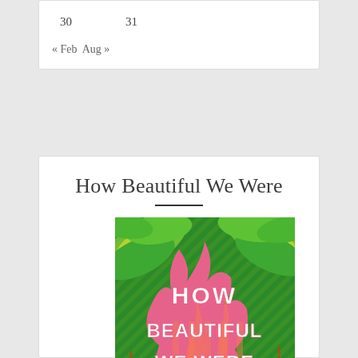| 30 | 31 |
« Feb  Aug »
How Beautiful We Were
[Figure (illustration): Book cover illustration for 'How Beautiful We Were'. Colorful cover with pink flames in the center bearing white bold text 'HOW BEAUTIFUL WE WERE'. Background has green and yellow patterned large leaves. A silhouetted figure of a child stands at the bottom with industrial oil rigs/derricks visible in orange-red tones.]